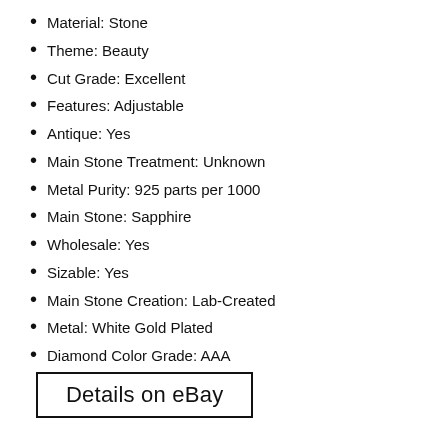Material: Stone
Theme: Beauty
Cut Grade: Excellent
Features: Adjustable
Antique: Yes
Main Stone Treatment: Unknown
Metal Purity: 925 parts per 1000
Main Stone: Sapphire
Wholesale: Yes
Sizable: Yes
Main Stone Creation: Lab-Created
Metal: White Gold Plated
Diamond Color Grade: AAA
Details on eBay